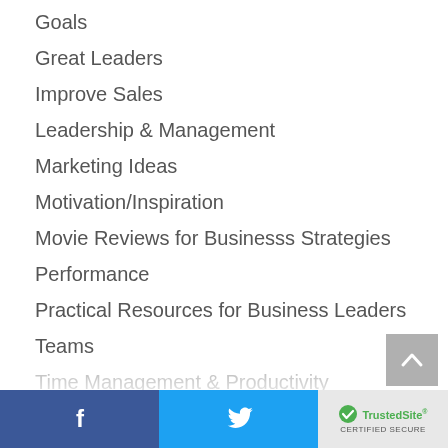Goals
Great Leaders
Improve Sales
Leadership & Management
Marketing Ideas
Motivation/Inspiration
Movie Reviews for Businesss Strategies
Performance
Practical Resources for Business Leaders
Teams
Time Management & Productivity